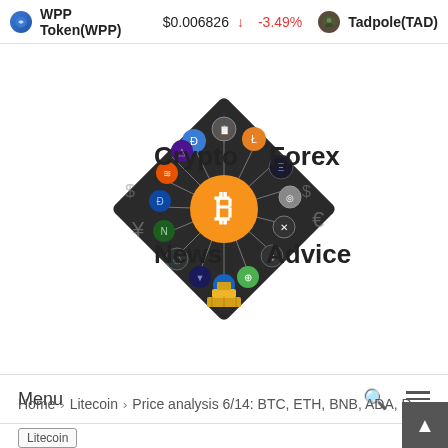WPP Token(WPP) $0.006826 ↓ -3.49% Tadpole(TAD)
[Figure (logo): Crypto Forex News Advice logo: dark diamond shape with Bitcoin orange circle center surrounded by various cryptocurrency icons, with text 'Crypto', 'Forex', 'News', 'Advice' around it]
Menu
Home > Litecoin > Price analysis 6/14: BTC, ETH, BNB, ADA, D...
Litecoin